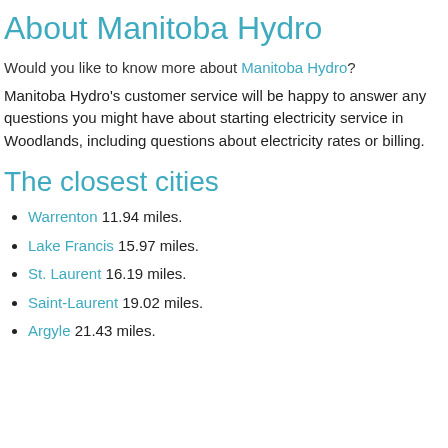About Manitoba Hydro
Would you like to know more about Manitoba Hydro?
Manitoba Hydro's customer service will be happy to answer any questions you might have about starting electricity service in Woodlands, including questions about electricity rates or billing.
The closest cities
Warrenton 11.94 miles.
Lake Francis 15.97 miles.
St. Laurent 16.19 miles.
Saint-Laurent 19.02 miles.
Argyle 21.43 miles.